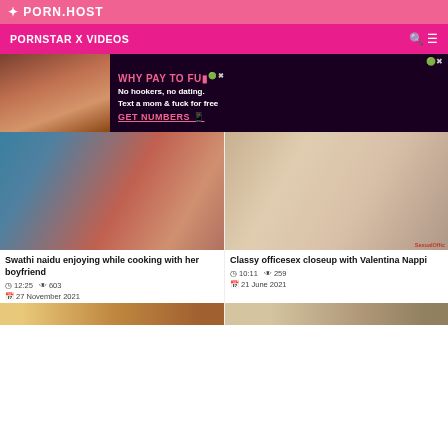PORN.HOST
PORNSTAR X VIDEOS
[Figure (photo): Adult advertisement banner with text: WHY PAY TO FUCK, No hookers, no dating. Text a mom & fuck for free, GET NUMBERS]
[Figure (photo): Thumbnail: Swathi naidu enjoying while cooking with her boyfriend]
Swathi naidu enjoying while cooking with her boyfriend
12:25   603   27 November 2021
[Figure (photo): Thumbnail: Classy officesex closeup with Valentina Nappi]
Classy officesex closeup with Valentina Nappi
10:11   259   21 June 2021